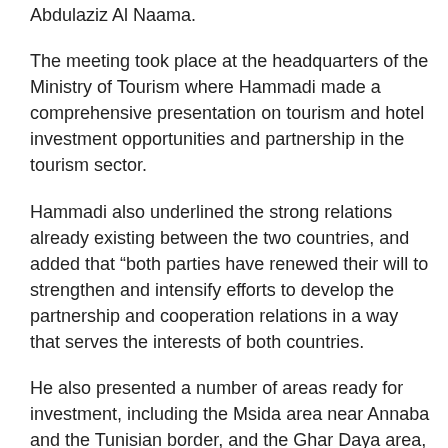Abdulaziz Al Naama.
The meeting took place at the headquarters of the Ministry of Tourism where Hammadi made a comprehensive presentation on tourism and hotel investment opportunities and partnership in the tourism sector.
Hammadi also underlined the strong relations already existing between the two countries, and added that “both parties have renewed their will to strengthen and intensify efforts to develop the partnership and cooperation relations in a way that serves the interests of both countries.
He also presented a number of areas ready for investment, including the Msida area near Annaba and the Tunisian border, and the Ghar Daya area, as well as other areas for medical tourism, hotel management and partnership with the public sector which owns a number of hotels.